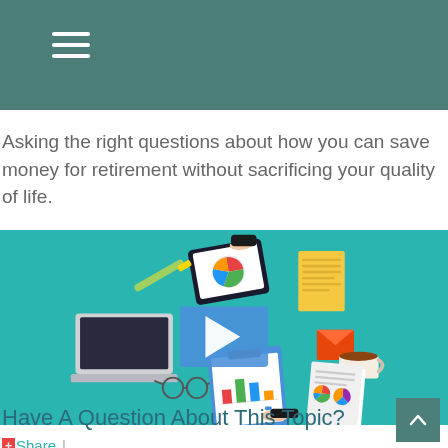Asking the right questions about how you can save money for retirement without sacrificing your quality of life.
[Figure (illustration): Top-down flat design illustration showing a business/finance meeting scene with a tablet displaying a pie chart, laptop, clipboard with charts, documents, coffee cup, glasses, and hands collaborating. A blue play button overlay is visible in the center.]
Share |
Have A Question About This Topic?